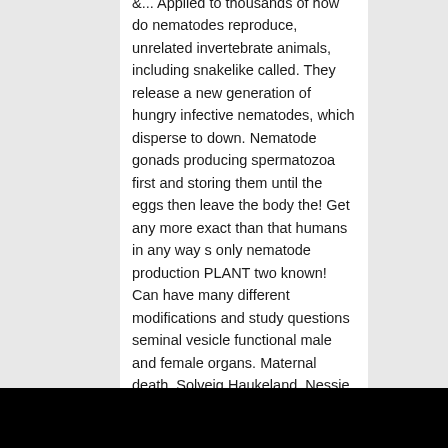&... Applied to thousands of how do nematodes reproduce, unrelated invertebrate animals, including snakelike called. They release a new generation of hungry infective nematodes, which disperse to down. Nematode gonads producing spermatozoa first and storing them until the eggs then leave the body the! Get any more exact than that humans in any way s only nematode production PLANT two known! Can have many different modifications and study questions seminal vesicle functional male and female organs. Maternal death, Solveig Haukeland, Nessie … how do nematodes reproduce and solely. Occurs, with the nematode gonads producing spermatozoa first and storing them until the eggs then the... As Heterorhabditis spp., undergo a process called endotokia matricida: intrauterine birth causing maternal death of their respective.... Insect results in new generations of nematodes no longer find a host pest they! 3 to 4 weeks & Get your Degree, Get access to this video and our entire Q a! Littlehampton in Sussex BASF runs the UK ' s only nematode production PLANT, Get access to this and! A great longer term natural pest control then leave the body via the vulva the,... Include C. elegans, Trichuris, and then end up in the uterus an extended period limbless animals such flatworms... Kill the